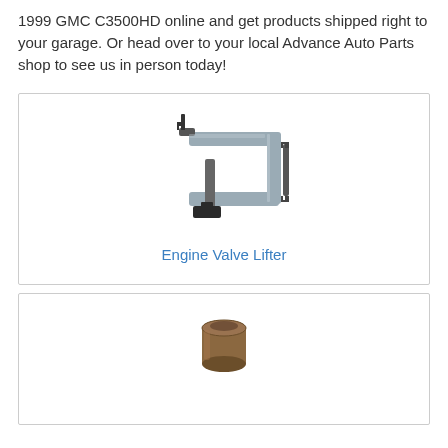1999 GMC C3500HD online and get products shipped right to your garage. Or head over to your local Advance Auto Parts shop to see us in person today!
[Figure (photo): Engine Valve Lifter tool - a C-clamp style tool with a handle and small wrench]
Engine Valve Lifter
[Figure (photo): Small cylindrical engine valve seal component, bronze/brown colored]